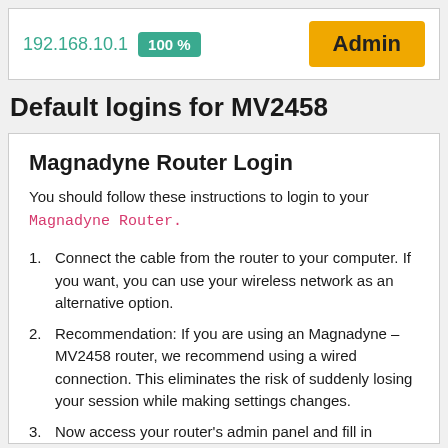192.168.10.1  100 %  Admin
Default logins for MV2458
Magnadyne Router Login
You should follow these instructions to login to your Magnadyne Router.
Connect the cable from the router to your computer. If you want, you can use your wireless network as an alternative option.
Recommendation: If you are using an Magnadyne – MV2458 router, we recommend using a wired connection. This eliminates the risk of suddenly losing your session while making settings changes.
Now access your router's admin panel and fill in